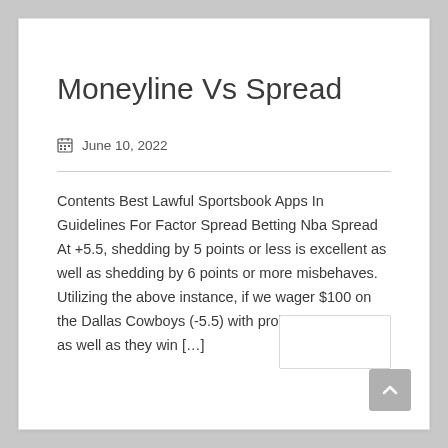Moneyline Vs Spread
June 10, 2022
Contents Best Lawful Sportsbook Apps In Guidelines For Factor Spread Betting Nba Spread At +5.5, shedding by 5 points or less is excellent as well as shedding by 6 points or more misbehaves. Utilizing the above instance, if we wager $100 on the Dallas Cowboys (-5.5) with probabilities of -110 as well as they win […]